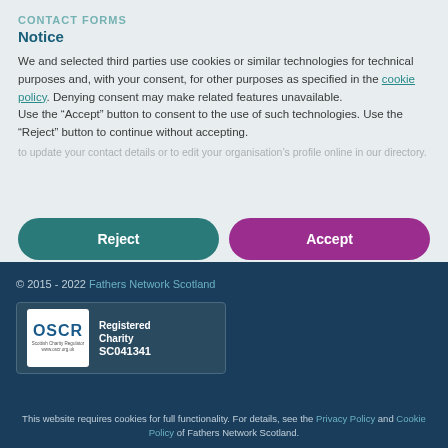CONTACT FORMS
Notice
We and selected third parties use cookies or similar technologies for technical purposes and, with your consent, for other purposes as specified in the cookie policy. Denying consent may make related features unavailable.
Use the “Accept” button to consent to the use of such technologies. Use the “Reject” button to continue without accepting.
Reject
Accept
© 2015 - 2022 Fathers Network Scotland
[Figure (logo): OSCR Registered Charity SC041341 logo badge]
This website requires cookies for full functionality. For details, see the Privacy Policy and Cookie Policy of Fathers Network Scotland.